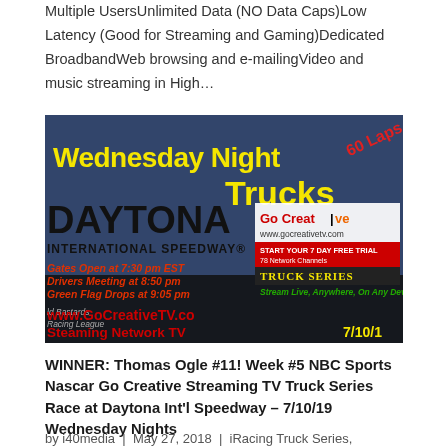Multiple UsersUnlimited Data (NO Data Caps)Low Latency (Good for Streaming and Gaming)Dedicated BroadbandWeb browsing and e-mailingVideo and music streaming in High...
[Figure (photo): Promotional image for Wednesday Night Trucks race at Daytona International Speedway. Text includes: Wednesday Night Trucks, Go Laps, DAYTONA INTERNATIONAL SPEEDWAY, Gates Open at 7:30 pm EST, Drivers Meeting at 8:50 pm, Green Flag Drops at 9:05 pm, Go Creative TV logo, www.gocreativetv.com, START YOUR 7 DAY FREE TRIAL 78 Network Channels, TRUCK SERIES, Stream Live Anywhere On Any Device, www.GoCreativeTV.com, Steaming Network TV, 7/10/1]
WINNER: Thomas Ogle #11! Week #5 NBC Sports Nascar Go Creative Streaming TV Truck Series Race at Daytona Int'l Speedway – 7/10/19 Wednesday Nights
by i40media | May 27, 2018 | iRacing Truck Series,